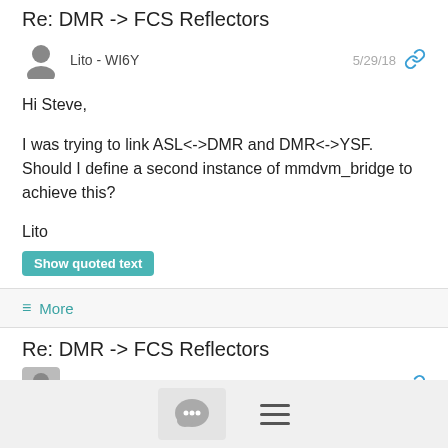Re: DMR -> FCS Reflectors
Lito - WI6Y   5/29/18
Hi Steve,

I was trying to link ASL<->DMR and DMR<->YSF. Should I define a second instance of mmdvm_bridge to achieve this?

Lito
Show quoted text
≡ More
Re: DMR -> FCS Reflectors
Steve - N1B*   5/29/18